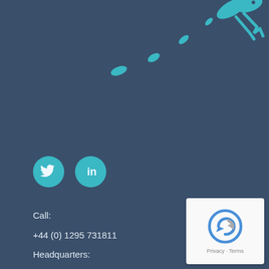[Figure (logo): Teal/turquoise lizard or gecko illustration in the upper right corner, partially cropped, with striped tail]
[Figure (illustration): Two teal circular social media icon buttons: Twitter bird icon and LinkedIn 'in' icon]
Call:
+44 (0) 1295 731811
Headquarters:
27 Horse Fair
Banbury